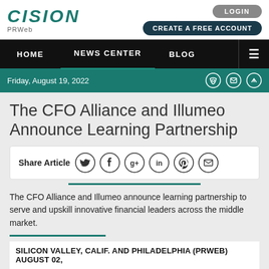[Figure (logo): Cision PRWeb logo — stylized italic CISION in teal with PRWeb below]
LOGIN
CREATE A FREE ACCOUNT
HOME | NEWS CENTER | BLOG
Friday, August 19, 2022
The CFO Alliance and Illumeo Announce Learning Partnership
Share Article
The CFO Alliance and Illumeo announce learning partnership to serve and upskill innovative financial leaders across the middle market.
SILICON VALLEY, CALIF. AND PHILADELPHIA (PRWEB) AUGUST 02,